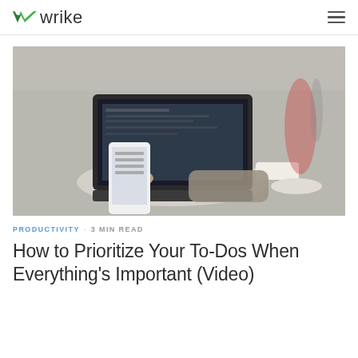wrike
[Figure (photo): Person sitting at outdoor café table holding a smartphone while using a laptop. Coffee cup and pastry visible on table in background. Blurred outdoor setting.]
PRODUCTIVITY · 3 MIN READ
How to Prioritize Your To-Dos When Everything's Important (Video)